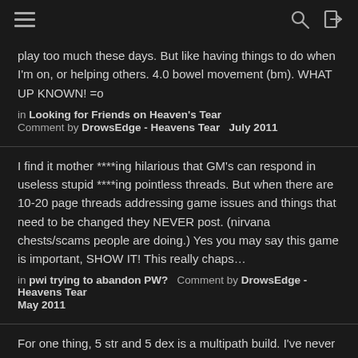[hamburger menu, search icon, login icon]
play too much these days. But like having things to do when I'm on, or helping others. 4.0 bowel movement (bm). WHAT UP KNOWN! =o
in Looking for Friends on Heaven's Tear
Comment by DrowsEdge - Heavens Tear   July 2011
I find it mother ****ing hilarious that GM's can respond in useless stupid ****ing pointless threads. But when there are 10-20 page threads addressing game issues and things that need to be changed they NEVER post. (nirvana chests/scams people are doing.) Yes you may say this game is important, SHOW IT! This really chaps...
in pwi trying to abandon PW?   Comment by DrowsEdge - Heavens Tear   May 2011
For one thing, 5 str and 5 dex is a multipath build. I've never followed a set amount for my points. Just made sure I had enough...